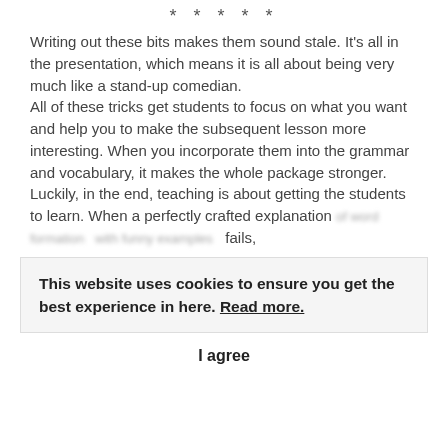* * * * *
Writing out these bits makes them sound stale. It's all in the presentation, which means it is all about being very much like a stand-up comedian.
All of these tricks get students to focus on what you want and help you to make the subsequent lesson more interesting. When you incorporate them into the grammar and vocabulary, it makes the whole package stronger.
Luckily, in the end, teaching is about getting the students to learn. When a perfectly crafted explanation of word formation with funny examples fails,
This website uses cookies to ensure you get the best experience in here. Read more.
I agree